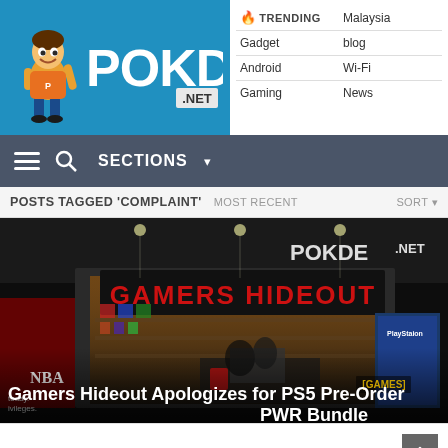[Figure (logo): Pokde.net logo with cartoon character mascot on blue background]
| 🔥 TRENDING | Malaysia |
| Gadget | blog |
| Android | Wi-Fi |
| Gaming | News |
≡ 🔍 SECTIONS ▾
POSTS TAGGED 'COMPLAINT'   MOST RECENT   SORT ▾
[Figure (photo): Gamers Hideout store front with red illuminated signage showing 'GAMERS HIDEOUT'. Store interior visible with gaming products. Pokde.net watermark in top right. [GAMES] badge visible. Article title overlay reads: Gamers Hideout Apologizes for PS5 Pre-Order PWR Bundle]
NOVEMBER 17, 2020